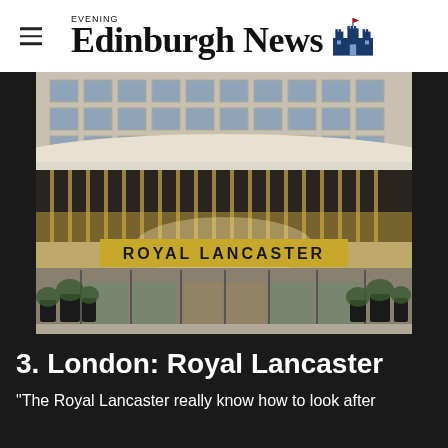Edinburgh Evening News
[Figure (photo): Exterior facade of the Royal Lancaster hotel in London, showing a curved modernist building with large glass windows, gold signage reading 'ROYAL LANCASTER', revolving doors, and potted plants at the entrance.]
3. London: Royal Lancaster
"The Royal Lancaster really know how to look after